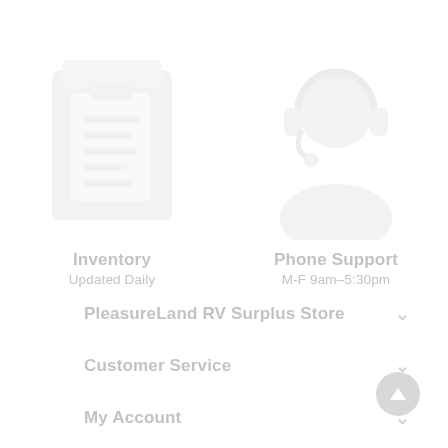[Figure (illustration): Clipboard/inventory icon, light gray, blurred/faded appearance]
Inventory
Updated Daily
[Figure (illustration): Customer support/headset person icon, light gray, blurred/faded appearance]
Phone Support
M-F 9am-5:30pm
PleasureLand RV Surplus Store
Customer Service
My Account
Products